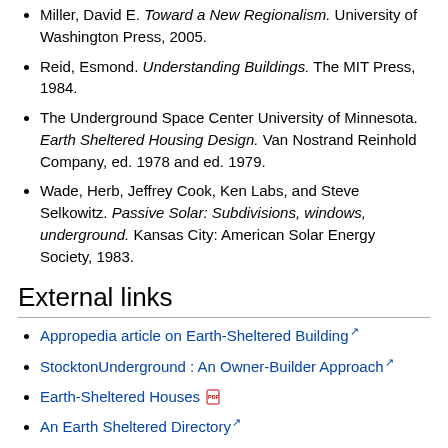Miller, David E. Toward a New Regionalism. University of Washington Press, 2005.
Reid, Esmond. Understanding Buildings. The MIT Press, 1984.
The Underground Space Center University of Minnesota. Earth Sheltered Housing Design. Van Nostrand Reinhold Company, ed. 1978 and ed. 1979.
Wade, Herb, Jeffrey Cook, Ken Labs, and Steve Selkowitz. Passive Solar: Subdivisions, windows, underground. Kansas City: American Solar Energy Society, 1983.
External links
Appropedia article on Earth-Sheltered Building
StocktonUnderground : An Owner-Builder Approach
Earth-Sheltered Houses
An Earth Sheltered Directory
Earth-bermed Natural Architecture